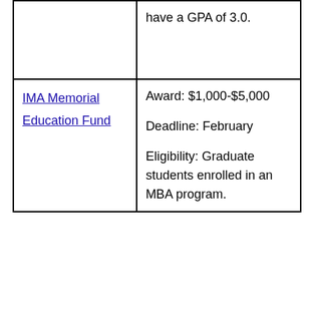|  | have a GPA of 3.0. |
| IMA Memorial Education Fund | Award: $1,000-$5,000
Deadline: February
Eligibility: Graduate students enrolled in an MBA program. |